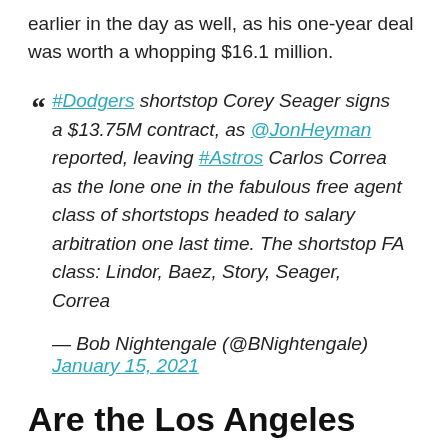earlier in the day as well, as his one-year deal was worth a whopping $16.1 million.
“ #Dodgers shortstop Corey Seager signs a $13.75M contract, as @JonHeyman reported, leaving #Astros Carlos Correa as the lone one in the fabulous free agent class of shortstops headed to salary arbitration one last time. The shortstop FA class: Lindor, Baez, Story, Seager, Correa
— Bob Nightengale (@BNightengale) January 15, 2021
Are the Los Angeles